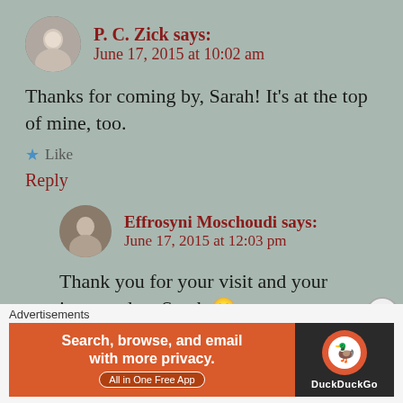P. C. Zick says: June 17, 2015 at 10:02 am
Thanks for coming by, Sarah! It's at the top of mine, too.
★ Like
Reply
Effrosyni Moschoudi says: June 17, 2015 at 12:03 pm
Thank you for your visit and your interest dear Sarah 🙂
Advertisements
[Figure (screenshot): DuckDuckGo advertisement banner: orange left panel with text 'Search, browse, and email with more privacy. All in One Free App' and dark right panel with DuckDuckGo logo and name.]